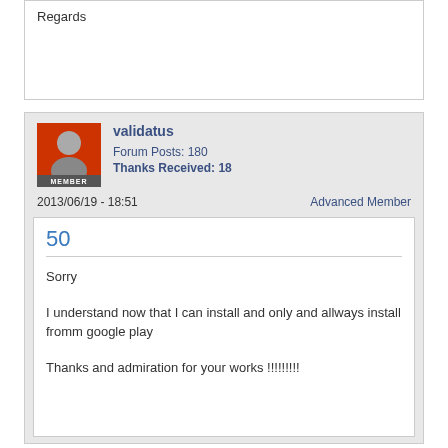Regards
validatus
Forum Posts: 180
Thanks Received: 18
2013/06/19 - 18:51
Advanced Member
50
Sorry

I understand now that I can install and only and allways install fromm google play


Thanks and admiration for your works !!!!!!!!!